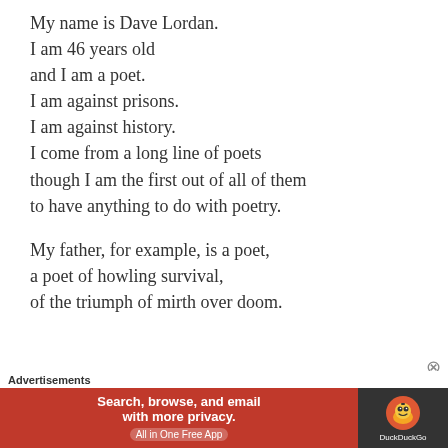My name is Dave Lordan.
I am 46 years old
and I am a poet.
I am against prisons.
I am against history.
I come from a long line of poets
though I am the first out of all of them
to have anything to do with poetry.

My father, for example, is a poet,
a poet of howling survival,
of the triumph of mirth over doom.
Advertisements — Search, browse, and email with more privacy. All in One Free App — DuckDuckGo